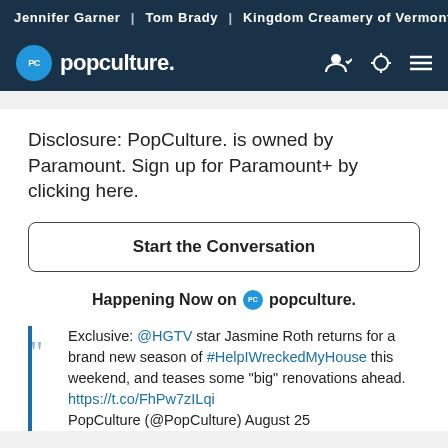Jennifer Garner | Tom Brady | Kingdom Creamery of Vermont
[Figure (logo): PopCulture.com navigation bar with PC logo circle, popculture. wordmark, user icon, theme toggle, and hamburger menu]
Disclosure: PopCulture. is owned by Paramount. Sign up for Paramount+ by clicking here.
Start the Conversation
Happening Now on popculture.
Exclusive: @HGTV star Jasmine Roth returns for a brand new season of #HelpIWreckedMyHouse this weekend, and teases some “big” renovations ahead. https://t.co/FhPw7zILqi PopCulture (@PopCulture) August 25...